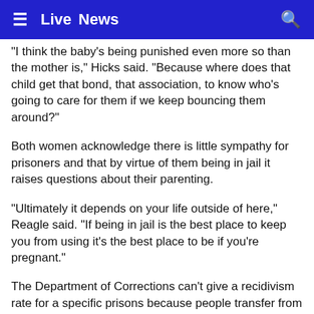≡  Live  News  🔍
"I think the baby's being punished even more so than the mother is," Hicks said. "Because where does that child get that bond, that association, to know who's going to care for them if we keep bouncing them around?"
Both women acknowledge there is little sympathy for prisoners and that by virtue of them being in jail it raises questions about their parenting.
"Ultimately it depends on your life outside of here," Reagle said. "If being in jail is the best place to keep you from using it's the best place to be if you're pregnant."
The Department of Corrections can't give a recidivism rate for a specific prisons because people transfer from one facility to another too frequently to get an accurate picture. But, calculated by gender, in 2013, which is the most recent information available, 63.1 percent of women felons